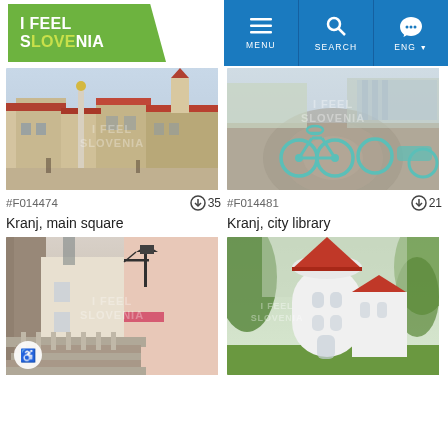[Figure (screenshot): I Feel Slovenia website header with logo and navigation buttons (MENU, SEARCH, ENG)]
[Figure (photo): Photo of Kranj main square with monument and historic buildings, file #F014474]
[Figure (photo): Photo of Kranj city library with bicycles on cobblestone square, file #F014481]
#F014474
35
#F014481
21
Kranj, main square
Kranj, city library
[Figure (photo): Photo of historic stone staircase with pink building and lantern in Kranj, wheelchair accessible]
[Figure (photo): Photo of white round church tower with red roof and green trees]